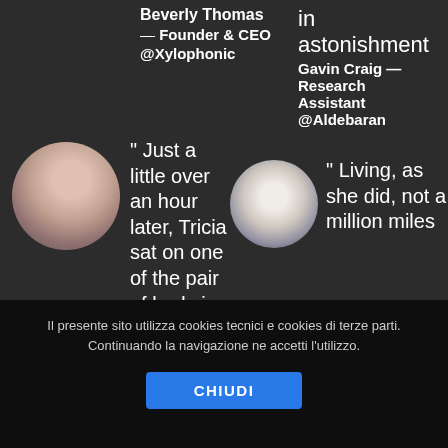Beverly Thomas — Founder & CEO @Xylophonic
in astonishment Gavin Craig — Research Assistant @Aldebaran
[Figure (photo): Circular avatar photo of a person, blurred/obscured]
" Just a little over an hour later, Tricia sat on one of the pair of beds in
[Figure (photo): Circular avatar photo of a person, blurred/obscured]
" Living, as she did, not a million miles
Il presente sito utilizza cookies tecnici e cookies di terze parti. Continuando la navigazione ne accetti l'utilizzo.
CHIUDI